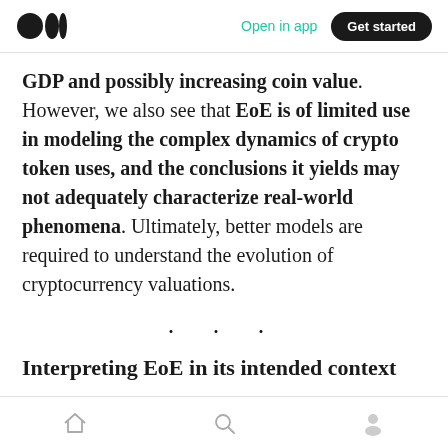Open in app | Get started
GDP and possibly increasing coin value. However, we also see that EoE is of limited use in modeling the complex dynamics of crypto token uses, and the conclusions it yields may not adequately characterize real-world phenomena. Ultimately, better models are required to understand the evolution of cryptocurrency valuations.
· · ·
Interpreting EoE in its intended context